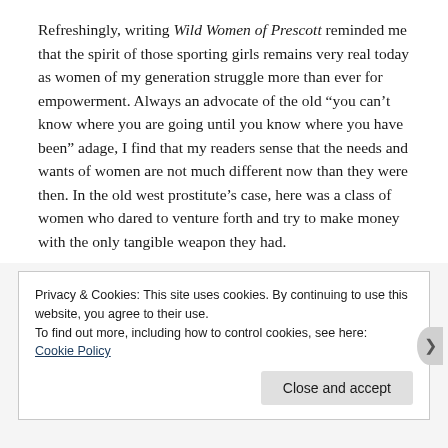Refreshingly, writing Wild Women of Prescott reminded me that the spirit of those sporting girls remains very real today as women of my generation struggle more than ever for empowerment. Always an advocate of the old “you can’t know where you are going until you know where you have been” adage, I find that my readers sense that the needs and wants of women are not much different now than they were then. In the old west prostitute’s case, here was a class of women who dared to venture forth and try to make money with the only tangible weapon they had.
Privacy & Cookies: This site uses cookies. By continuing to use this website, you agree to their use.
To find out more, including how to control cookies, see here:
Cookie Policy
Close and accept